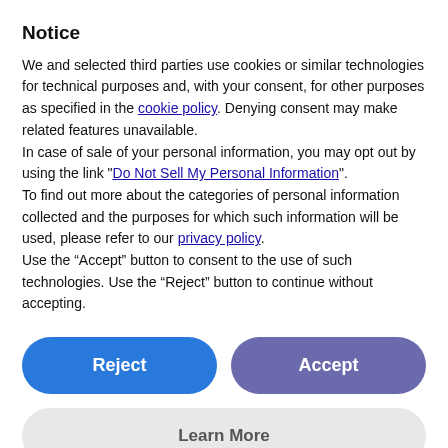Notice
We and selected third parties use cookies or similar technologies for technical purposes and, with your consent, for other purposes as specified in the cookie policy. Denying consent may make related features unavailable.
In case of sale of your personal information, you may opt out by using the link "Do Not Sell My Personal Information".
To find out more about the categories of personal information collected and the purposes for which such information will be used, please refer to our privacy policy.
Use the “Accept” button to consent to the use of such technologies. Use the “Reject” button to continue without accepting.
[Figure (screenshot): Two buttons: blue 'Reject' button on the left and purple 'Accept' button on the right]
[Figure (screenshot): Gray 'Learn More' button spanning full width]